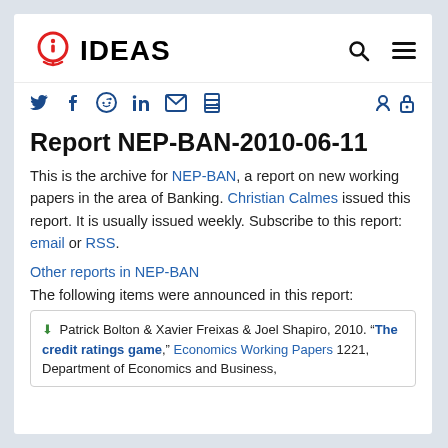[Figure (logo): IDEAS logo with stylized lightbulb/i icon in red and blue, followed by bold text 'IDEAS']
Report NEP-BAN-2010-06-11
This is the archive for NEP-BAN, a report on new working papers in the area of Banking. Christian Calmes issued this report. It is usually issued weekly. Subscribe to this report: email or RSS.
Other reports in NEP-BAN
The following items were announced in this report:
Patrick Bolton & Xavier Freixas & Joel Shapiro, 2010. "The credit ratings game," Economics Working Papers 1221, Department of Economics and Business,